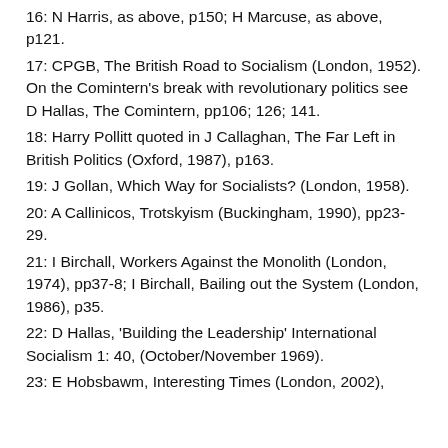16: N Harris, as above, p150; H Marcuse, as above, p121.
17: CPGB, The British Road to Socialism (London, 1952). On the Comintern's break with revolutionary politics see D Hallas, The Comintern, pp106; 126; 141.
18: Harry Pollitt quoted in J Callaghan, The Far Left in British Politics (Oxford, 1987), p163.
19: J Gollan, Which Way for Socialists? (London, 1958).
20: A Callinicos, Trotskyism (Buckingham, 1990), pp23-29.
21: I Birchall, Workers Against the Monolith (London, 1974), pp37-8; I Birchall, Bailing out the System (London, 1986), p35.
22: D Hallas, 'Building the Leadership' International Socialism 1: 40, (October/November 1969).
23: E Hobsbawm, Interesting Times (London, 2002),